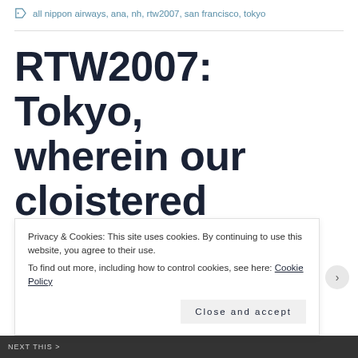all nippon airways, ana, nh, rtw2007, san francisco, tokyo
RTW2007: Tokyo, wherein our cloistered computer nerd tops up his lap in Akihibara and trips all over the
Privacy & Cookies: This site uses cookies. By continuing to use this website, you agree to their use.
To find out more, including how to control cookies, see here: Cookie Policy
Close and accept